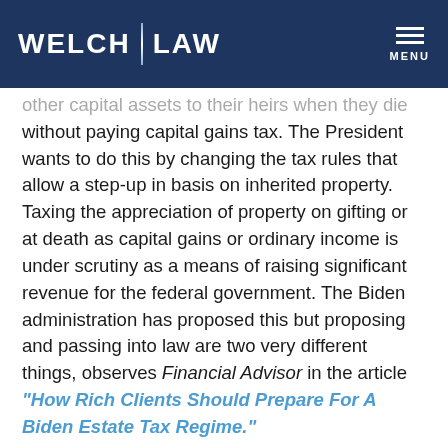WELCH LAW
other capital assets to their heirs when they die without paying capital gains tax. The President wants to do this by changing the tax rules that allow a step-up in basis on inherited property. Taxing the appreciation of property on gifting or at death as capital gains or ordinary income is under scrutiny as a means of raising significant revenue for the federal government. The Biden administration has proposed this but proposing and passing into law are two very different things, observes Financial Advisor in the article “How Rich Clients Should Prepare For A Biden Estate Tax Regime.”
The tax hikes are being considered as a means of paying for the American Jobs Act and the American Families Act. Paired with the COVID-19 relief bill, the